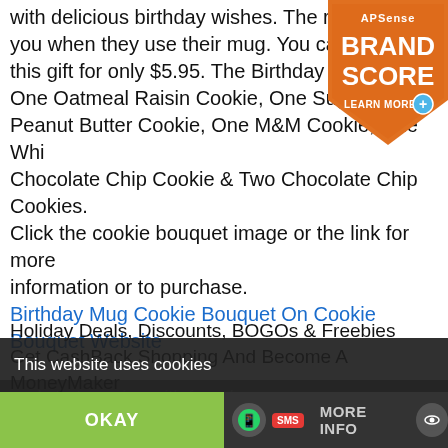with delicious birthday wishes. The recipient w... you when they use their mug. You can add a te... this gift for only $5.95. The Birthday Mug Bouq... One Oatmeal Raisin Cookie, One Sugar Cook... Peanut Butter Cookie, One M&M Cookie, One Whi... Chocolate Chip Cookie & Two Chocolate Chip Cookies. Click the cookie bouquet image or the link for more information or to purchase.
Birthday Mug Cookie Bouquet On Cookie Bouquet Website
[Figure (logo): APSense Brand Score badge - orange shield with text BRAND SCORE and LEARN MORE]
Holiday Deals, Discounts, BOGOs & Freebies
Get CashBack Shopping And Become A MoneyMaker
Posting Deals And Coupons With DealsPlus
You can find great holiday deals on the GiftsNDays website and you can also earn with bargains on the DealsPlus ... and start earning with frugal
This website uses cookies
OKAY
MORE INFO